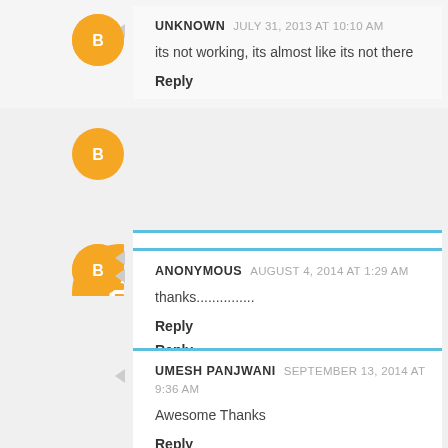UNKNOWN  JULY 31, 2013 AT 10:10 AM
its not working, its almost like its not there
Reply
UNKNOWN  DECEMBER 22, 2013 AT 1:40 PM
Thanks...Its awesome... If possible provide file uploading using ajax jquery
Reply
ANONYMOUS  AUGUST 4, 2014 AT 1:29 AM
thanks...............
Reply
UMESH PANJWANI  SEPTEMBER 13, 2014 AT 9:36 AM
Awesome Thanks
Reply